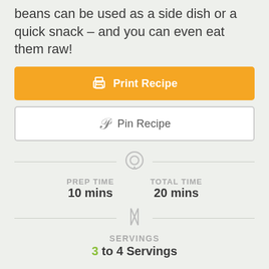beans can be used as a side dish or a quick snack – and you can even eat them raw!
[Figure (other): Orange 'Print Recipe' button with printer icon]
[Figure (other): White 'Pin Recipe' button with Pinterest 'P' icon]
[Figure (other): Timer/clock icon between divider lines]
PREP TIME
10 mins
TOTAL TIME
20 mins
[Figure (other): Fork and knife crossed icon between divider lines]
SERVINGS
3 to 4 Servings